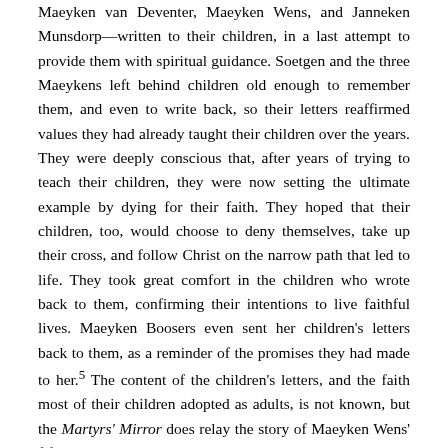Maeyken van Deventer, Maeyken Wens, and Janneken Munsdorp—written to their children, in a last attempt to provide them with spiritual guidance. Soetgen and the three Maeykens left behind children old enough to remember them, and even to write back, so their letters reaffirmed values they had already taught their children over the years. They were deeply conscious that, after years of trying to teach their children, they were now setting the ultimate example by dying for their faith. They hoped that their children, too, would choose to deny themselves, take up their cross, and follow Christ on the narrow path that led to life. They took great comfort in the children who wrote back to them, confirming their intentions to live faithful lives. Maeyken Boosers even sent her children's letters back to them, as a reminder of the promises they had made to her.⁵ The content of the children's letters, and the faith most of their children adopted as adults, is not known, but the Martyrs' Mirror does relay the story of Maeyken Wens' fifteen-year-old son